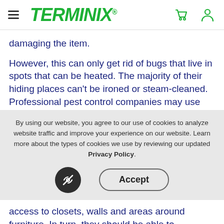TERMINIX
damaging the item.
However, this can only get rid of bugs that live in spots that can be heated. The majority of their hiding places can't be ironed or steam-cleaned. Professional pest control companies may use
By using our website, you agree to our use of cookies to analyze website traffic and improve your experience on our website. Learn more about the types of cookies we use by reviewing our updated Privacy Policy.
access to closets, walls and areas around furniture. In turn, they should be able to effectively treat your bed bug infestation.